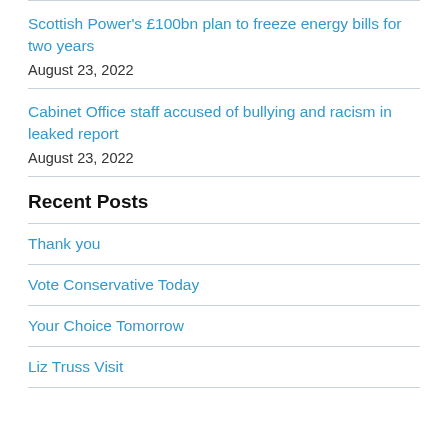Scottish Power's £100bn plan to freeze energy bills for two years
August 23, 2022
Cabinet Office staff accused of bullying and racism in leaked report
August 23, 2022
Recent Posts
Thank you
Vote Conservative Today
Your Choice Tomorrow
Liz Truss Visit